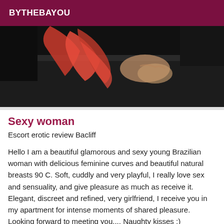BYTHEBAYOU
[Figure (photo): A dark image showing a person in a red garment against a black background, with hands visible]
Sexy woman
Escort erotic review Bacliff
Hello I am a beautiful glamorous and sexy young Brazilian woman with delicious feminine curves and beautiful natural breasts 90 C. Soft, cuddly and very playful, I really love sex and sensuality, and give pleasure as much as receive it. Elegant, discreet and refined, very girlfriend, I receive you in my apartment for intense moments of shared pleasure. Looking forward to meeting you.... Naughty kisses :)